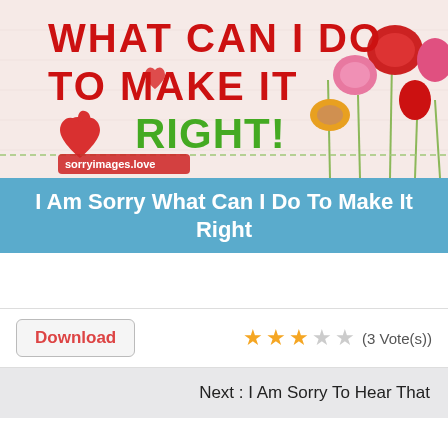[Figure (illustration): Greeting card image with light pink background, red heart shapes on the left, colorful flower/stone decorations on the right, text reading 'What Can I Do To Make It RIGHT!' in red and green lettering, with a watermark 'sorryimages.love' at bottom left.]
I Am Sorry What Can I Do To Make It Right
Download   ★★★☆☆ (3 Vote(s))
Next : I Am Sorry To Hear That